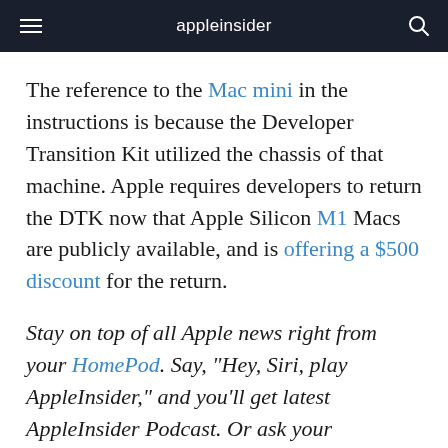appleinsider
The reference to the Mac mini in the instructions is because the Developer Transition Kit utilized the chassis of that machine. Apple requires developers to return the DTK now that Apple Silicon M1 Macs are publicly available, and is offering a $500 discount for the return.
Stay on top of all Apple news right from your HomePod. Say, "Hey, Siri, play AppleInsider," and you'll get latest AppleInsider Podcast. Or ask your HomePod mini for "AppleInsider Daily" instead and you'll hear a fast update direct from our news team. And, if you're interested